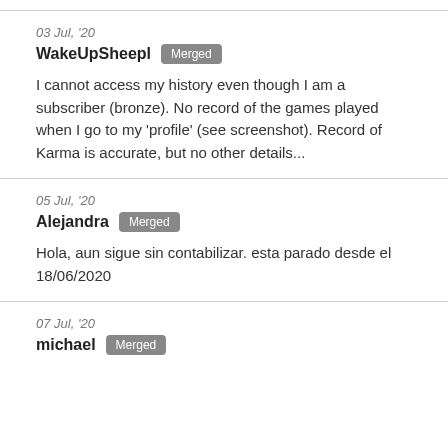03 Jul, '20
WakeUpSheepl Merged
I cannot access my history even though I am a subscriber (bronze). No record of the games played when I go to my 'profile' (see screenshot). Record of Karma is accurate, but no other details...
05 Jul, '20
Alejandra Merged
Hola, aun sigue sin contabilizar. esta parado desde el 18/06/2020
07 Jul, '20
michael Merged